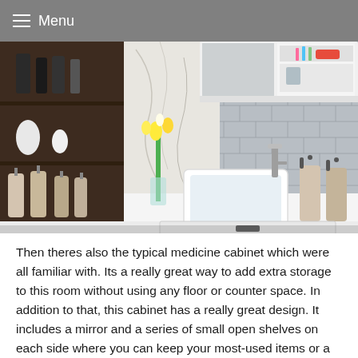Menu
[Figure (photo): A modern bathroom with a white vessel sink on a white countertop, a chrome faucet, a medicine cabinet with mirror and open shelves containing toothbrushes and toiletries, grey subway tile backsplash, two glass soap dispensers, a yellow flower arrangement, and a dark wood open shelving unit on the left with bottles and vases.]
Then theres also the typical medicine cabinet which were all familiar with. Its a really great way to add extra storage to this room without using any floor or counter space. In addition to that, this cabinet has a really great design. It includes a mirror and a series of small open shelves on each side where you can keep your most-used items or a little something that you want to put on display such as a tiny vase, a planter or a scented candle. The cabinet is made of strong and durable